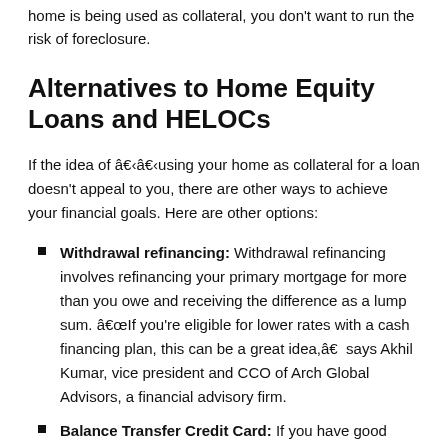home is being used as collateral, you don't want to run the risk of foreclosure.
Alternatives to Home Equity Loans and HELOCs
If the idea of â€‹â€‹using your home as collateral for a loan doesn't appeal to you, there are other ways to achieve your financial goals. Here are other options:
Withdrawal refinancing: Withdrawal refinancing involves refinancing your primary mortgage for more than you owe and receiving the difference as a lump sum. â€œIf you're eligible for lower rates with a cash financing plan, this can be a great idea,â€  says Akhil Kumar, vice president and CCO of Arch Global Advisors, a financial advisory firm.
Balance Transfer Credit Card: If you have good credit, you could qualify for a 0% APR balance transfer card. It gives